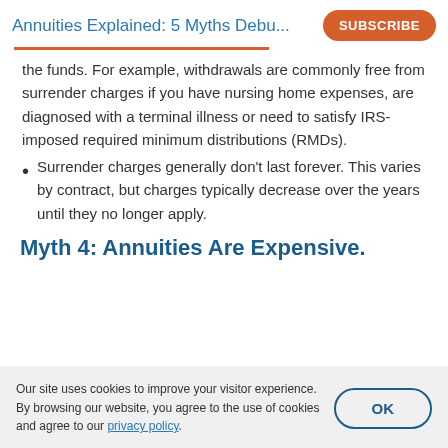Annuities Explained: 5 Myths Debu...
the funds. For example, withdrawals are commonly free from surrender charges if you have nursing home expenses, are diagnosed with a terminal illness or need to satisfy IRS-imposed required minimum distributions (RMDs).
Surrender charges generally don't last forever. This varies by contract, but charges typically decrease over the years until they no longer apply.
Myth 4: Annuities Are Expensive.
Our site uses cookies to improve your visitor experience. By browsing our website, you agree to the use of cookies and agree to our privacy policy.